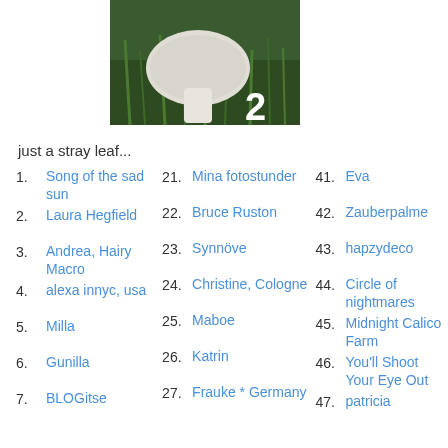[Figure (photo): A white mushroom in green grass with the number 2 overlaid in white text]
just a stray leaf...
1. Song of the sad sun
2. Laura Hegfield
3. Andrea, Hairy Macro
4. alexa innyc, usa
5. Milla
6. Gunilla
7. BLOGitse
21. Mina fotostunder
22. Bruce Ruston
23. Synnöve
24. Christine, Cologne
25. Maboe
26. Katrin
27. Frauke * Germany
41. Eva
42. Zauberpalme
43. hapzydeco
44. Circle of nightmares
45. Midnight Calico Farm
46. You'll Shoot Your Eye Out
47. patricia